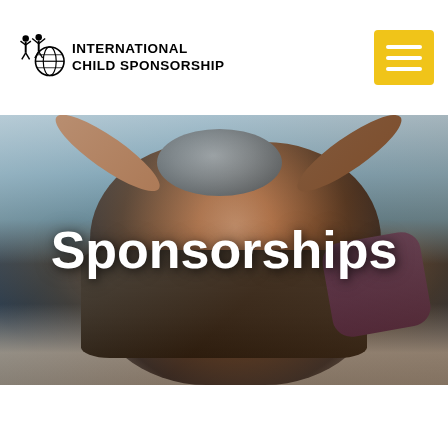International Child Sponsorship
[Figure (photo): A smiling young boy holding a grey rock or ball above his head at a beach, photographed outdoors. The word 'Sponsorships' is overlaid in large white bold text.]
Sponsorships